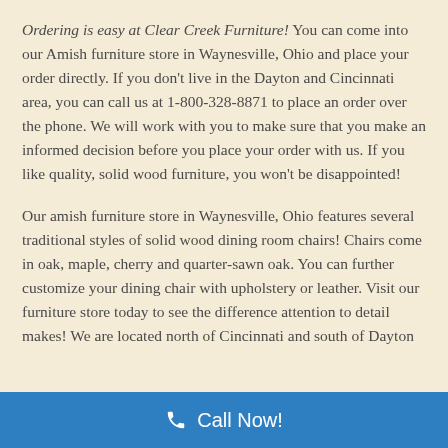Ordering is easy at Clear Creek Furniture! You can come into our Amish furniture store in Waynesville, Ohio and place your order directly. If you don't live in the Dayton and Cincinnati area, you can call us at 1-800-328-8871 to place an order over the phone. We will work with you to make sure that you make an informed decision before you place your order with us. If you like quality, solid wood furniture, you won't be disappointed!
Our amish furniture store in Waynesville, Ohio features several traditional styles of solid wood dining room chairs! Chairs come in oak, maple, cherry and quarter-sawn oak. You can further customize your dining chair with upholstery or leather. Visit our furniture store today to see the difference attention to detail makes! We are located north of Cincinnati and south of Dayton...
Call Now!